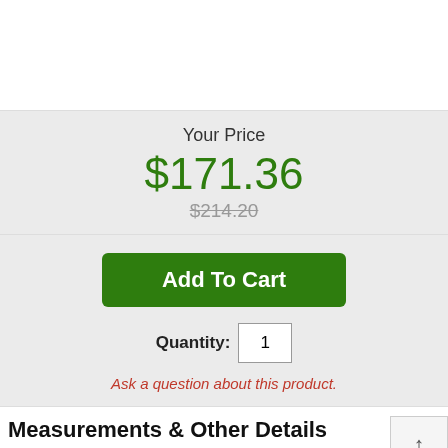Your Price
$171.36
$214.20
Add To Cart
Quantity: 1
Ask a question about this product.
Measurements & Other Details
Length: 5.98 in./151.94 mm.